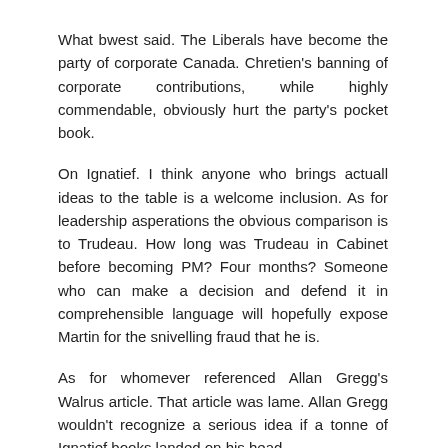What bwest said. The Liberals have become the party of corporate Canada. Chretien's banning of corporate contributions, while highly commendable, obviously hurt the party's pocket book.
On Ignatief. I think anyone who brings actuall ideas to the table is a welcome inclusion. As for leadership asperations the obvious comparison is to Trudeau. How long was Trudeau in Cabinet before becoming PM? Four months? Someone who can make a decision and defend it in comprehensible language will hopefully expose Martin for the snivelling fraud that he is.
As for whomever referenced Allan Gregg's Walrus article. That article was lame. Allan Gregg wouldn't recognize a serious idea if a tonne of Ignatief books landed on his head.
Reply
Anonymous 9:10 p.m.